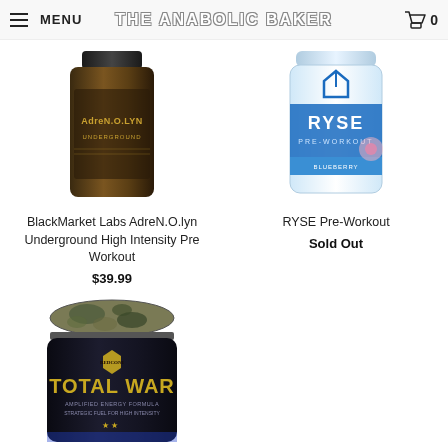MENU | THE ANABOLIC BAKER | 0
[Figure (photo): BlackMarket Labs AdreN.O.lyn Underground product container - dark amber bottle]
BlackMarket Labs AdreN.O.lyn Underground High Intensity Pre Workout
$39.99
[Figure (photo): RYSE Pre-Workout product container - white and blue tub]
RYSE Pre-Workout
Sold Out
[Figure (photo): Redcon1 Total War pre-workout container - black tub with camouflage lid]